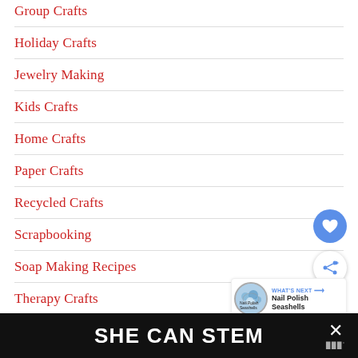Group Crafts
Holiday Crafts
Jewelry Making
Kids Crafts
Home Crafts
Paper Crafts
Recycled Crafts
Scrapbooking
Soap Making Recipes
Therapy Crafts
Wo...
SHE CAN STEM